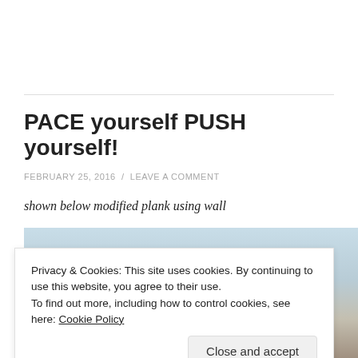PACE yourself PUSH yourself!
FEBRUARY 25, 2016  /  LEAVE A COMMENT
shown below modified plank using wall
[Figure (photo): Partial view of a person performing a modified plank exercise using a wall, outdoor setting with sky visible]
Privacy & Cookies: This site uses cookies. By continuing to use this website, you agree to their use.
To find out more, including how to control cookies, see here: Cookie Policy
Close and accept